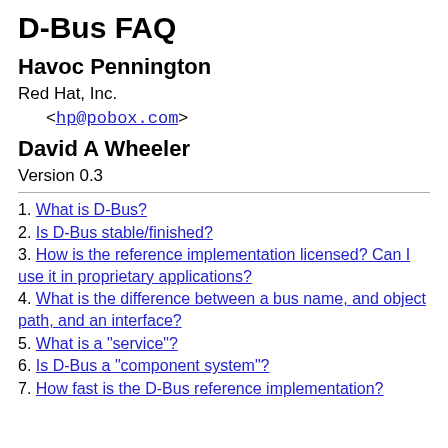D-Bus FAQ
Havoc Pennington
Red Hat, Inc.
<hp@pobox.com>
David A Wheeler
Version 0.3
1. What is D-Bus?
2. Is D-Bus stable/finished?
3. How is the reference implementation licensed? Can I use it in proprietary applications?
4. What is the difference between a bus name, and object path, and an interface?
5. What is a "service"?
6. Is D-Bus a "component system"?
7. How fast is the D-Bus reference implementation?